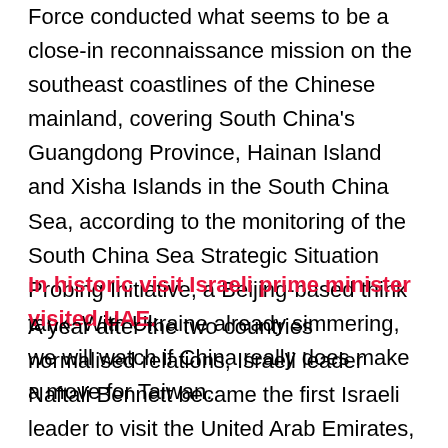Force conducted what seems to be a close-in reconnaissance mission on the southeast coastlines of the Chinese mainland, covering South China's Guangdong Province, Hainan Island and Xisha Islands in the South China Sea, according to the monitoring of the South China Sea Strategic Situation Probing Initiative, a Beijing-based think tank. With Ukraine already simmering, we will watch if China really does make a move for Taiwan.
In historic visit Israeli prime minister visited UAE.
A year after the two countries normalised relations, Israeli leader Naftali Bennett became the first Israeli leader to visit the United Arab Emirates, as he attempts to deepen ties at a time of rising